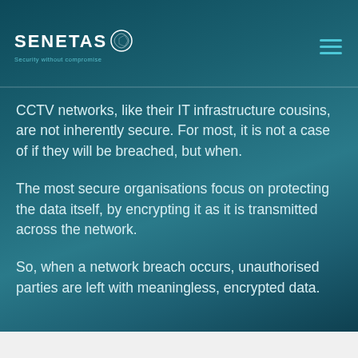SENETAS Security without compromise
CCTV networks, like their IT infrastructure cousins, are not inherently secure. For most, it is not a case of if they will be breached, but when.
The most secure organisations focus on protecting the data itself, by encrypting it as it is transmitted across the network.
So, when a network breach occurs, unauthorised parties are left with meaningless, encrypted data.